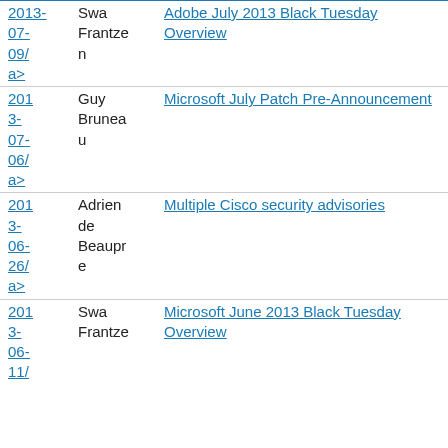| Date | Author | Title |
| --- | --- | --- |
| 2013-07-09 | Swa Frantzen | Adobe July 2013 Black Tuesday Overview |
| 2013-07-06 | Guy Bruneau | Microsoft July Patch Pre-Announcement |
| 2013-06-26 | Adrien de Beaupre | Multiple Cisco security advisories |
| 2013-06-11 | Swa Frantzen | Microsoft June 2013 Black Tuesday Overview |